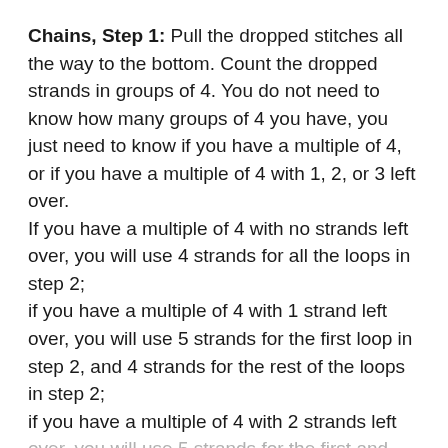Chains, Step 1: Pull the dropped stitches all the way to the bottom. Count the dropped strands in groups of 4. You do not need to know how many groups of 4 you have, you just need to know if you have a multiple of 4, or if you have a multiple of 4 with 1, 2, or 3 left over.
If you have a multiple of 4 with no strands left over, you will use 4 strands for all the loops in step 2;
if you have a multiple of 4 with 1 strand left over, you will use 5 strands for the first loop in step 2, and 4 strands for the rest of the loops in step 2;
if you have a multiple of 4 with 2 strands left over, you will use 5 strands for the first and last loop in step 2, and 4 strands for the rest